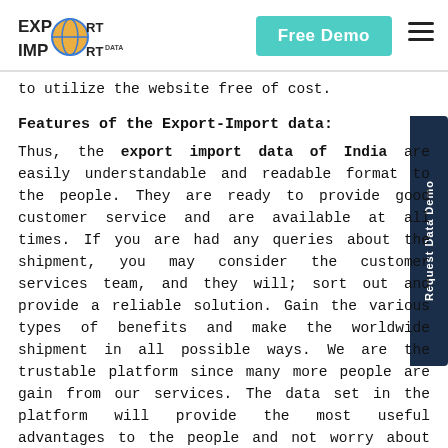EXPORT IMPORT DATA | Free Demo
to utilize the website free of cost.
Features of the Export-Import data:
Thus, the export import data of India are easily understandable and readable format to the people. They are ready to provide good customer service and are available at all times. If you are had any queries about the shipment, you may consider the customer services team, and they will; sort out and provide a reliable solution. Gain the various types of benefits and make the worldwide shipment in all possible ways. We are the trustable platform since many more people are gain from our services. The data set in the platform will provide the most useful advantages to the people and not worry about it. Gain superb and awesome aids from the platform and lift the business
[Figure (other): Request Data Demo vertical sidebar button on the right side]